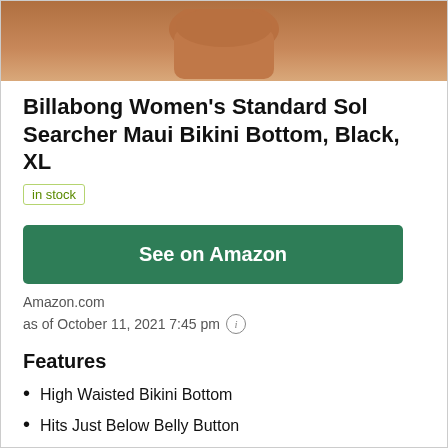[Figure (photo): Cropped product photo showing lower torso of a person wearing a black bikini bottom]
Billabong Women's Standard Sol Searcher Maui Bikini Bottom, Black, XL
in stock
See on Amazon
Amazon.com
as of October 11, 2021 7:45 pm
Features
High Waisted Bikini Bottom
Hits Just Below Belly Button
Moderate Seat Coverate